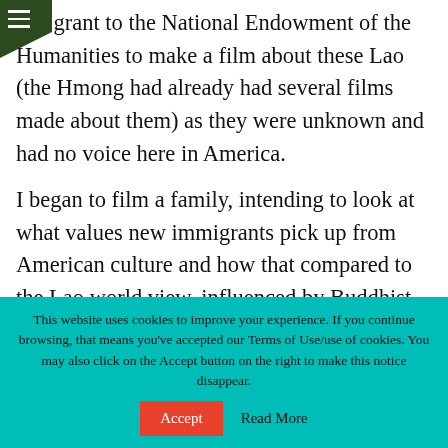te a grant to the National Endowment of the Humanities to make a film about these Lao (the Hmong had already had several films made about them) as they were unknown and had no voice here in America.
I began to film a family, intending to look at what values new immigrants pick up from American culture and how that compared to the Lao world view, influenced by Buddhist thought and way of
This website uses cookies to improve your experience. If you continue browsing, that means you've accepted our Terms of Use/use of cookies. You may also click on the Accept button on the right to make this notice disappear.